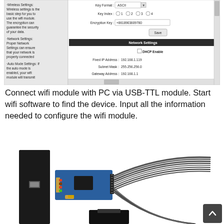[Figure (screenshot): Screenshot of WiFi module configuration software showing Wireless Settings, Network Settings panels. Key Format: ASCII, Key Index: 1 2 3 4 radio buttons, Encryption Key: +8618903609780, Save button, Network Settings section with DHCP Enable checkbox, Fixed IP Address: 192.168.1.119, Subnet Mask: 255.256.256.0, Gateway Address: 192.168.1.1]
Connect wifi module with PC via USB-TTL module. Start wifi software to find the device. Input all the information needed to configure the wifi module.
[Figure (photo): Photo of a WiFi module (small blue PCB with components) connected via ribbon cable to a black device, showing USB-TTL connection setup on a white background.]